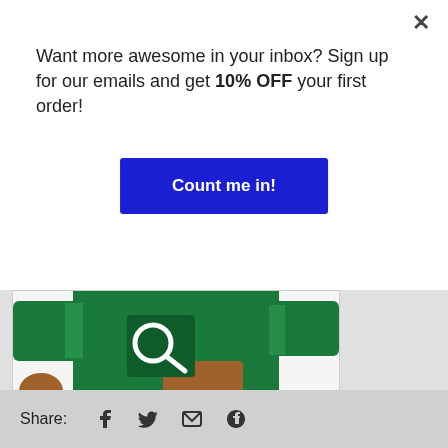Want more awesome in your inbox? Sign up for our emails and get 10% OFF your first order!
Count me in!
[Figure (photo): Green long-sleeve NFL New York Jets shirt worn by a model, shown from torso down with a magnifying glass zoom icon overlay]
[Figure (photo): Thumbnail of full front view of green long-sleeve Jets shirt]
[Figure (photo): Thumbnail of back/side view of green shirt]
Share: